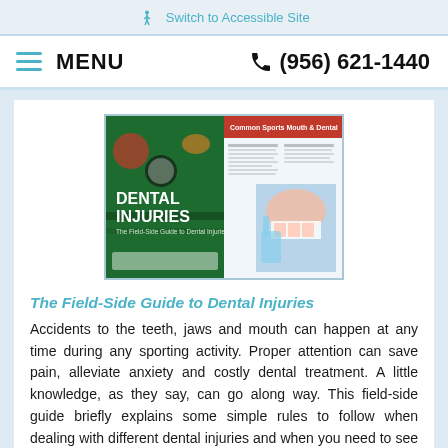♿ Switch to Accessible Site
≡ MENU   ☎ (956) 621-1440
[Figure (photo): Brochure cover showing 'Dental Injuries' field-side guide with sports equipment imagery and a dental examination photo]
The Field-Side Guide to Dental Injuries
Accidents to the teeth, jaws and mouth can happen at any time during any sporting activity. Proper attention can save pain, alleviate anxiety and costly dental treatment. A little knowledge, as they say, can go along way. This field-side guide briefly explains some simple rules to follow when dealing with different dental injuries and when you need to see the dentist.